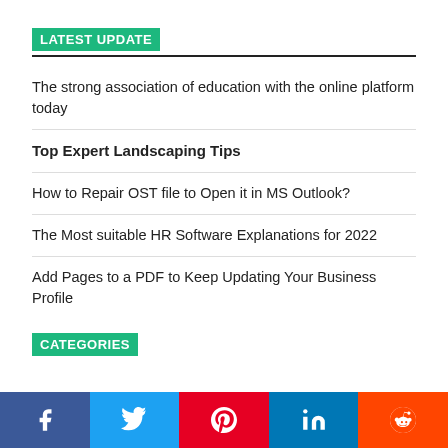LATEST UPDATE
The strong association of education with the online platform today
Top Expert Landscaping Tips
How to Repair OST file to Open it in MS Outlook?
The Most suitable HR Software Explanations for 2022
Add Pages to a PDF to Keep Updating Your Business Profile
CATEGORIES